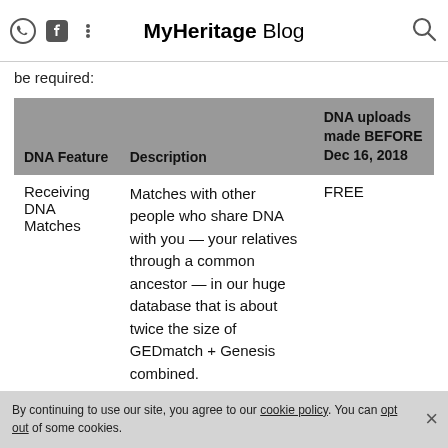MyHeritage Blog
be required:
| DNA Feature | Description | DNA uploads made BEFORE Dec 16, 2018 |
| --- | --- | --- |
| Receiving DNA Matches | Matches with other people who share DNA with you — your relatives through a common ancestor — in our huge database that is about twice the size of GEDmatch + Genesis combined. | FREE |
By continuing to use our site, you agree to our cookie policy. You can opt out of some cookies.